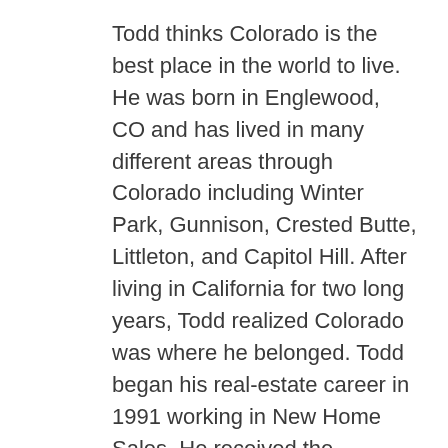Todd thinks Colorado is the best place in the world to live. He was born in Englewood, CO and has lived in many different areas through Colorado including Winter Park, Gunnison, Crested Butte, Littleton, and Capitol Hill. After living in California for two long years, Todd realized Colorado was where he belonged. Todd began his real-estate career in 1991 working in New Home Sales. He received the prestigious honor of "Presidents Club Member" on numerous occasions with US Home and D.R. Horton. Todd joined forces with his father and Realtor "Ernie Rice" in 2004. Todd's father taught him many things in life before passing away in 2007. The most impactful real estate lesson Todd learned from Ernie was "always listen to your clients." Todd continues to